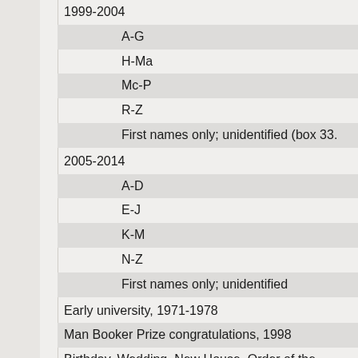1999-2004
A-G
H-Ma
Mc-P
R-Z
First names only; unidentified (box 33.
2005-2014
A-D
E-J
K-M
N-Z
First names only; unidentified
Early university, 1971-1978
Man Booker Prize congratulations, 1998
Birthday, Wedding, New House, Order of the